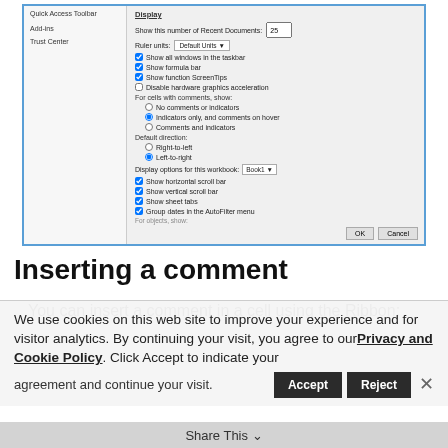[Figure (screenshot): Screenshot of an Excel Options dialog box showing Display settings including checkboxes for showing windows in taskbar, formula bar, function tooltips, hardware graphics acceleration, radio buttons for cell comment display options, default direction, and workbook display options including horizontal/vertical scrollbars, sheet tabs, and AutoFilter date grouping.]
Inserting a comment
You can insert a comment in a cell using the Ribbon:
We use cookies on this web site to improve your experience and for visitor analytics. By continuing your visit, you agree to our Privacy and Cookie Policy. Click Accept to indicate your agreement and continue your visit.
Share This